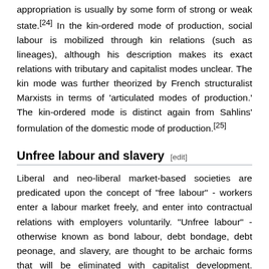appropriation is usually by some form of strong or weak state.[24] In the kin-ordered mode of production, social labour is mobilized through kin relations (such as lineages), although his description makes its exact relations with tributary and capitalist modes unclear. The kin mode was further theorized by French structuralist Marxists in terms of 'articulated modes of production.' The kin-ordered mode is distinct again from Sahlins' formulation of the domestic mode of production.[25]
Unfree labour and slavery [edit]
Liberal and neo-liberal market-based societies are predicated upon the concept of "free labour" - workers enter a labour market freely, and enter into contractual relations with employers voluntarily. "Unfree labour" - otherwise known as bond labour, debt bondage, debt peonage, and slavery, are thought to be archaic forms that will be eliminated with capitalist development. Anthropologists working in a wide variety of current situations have documented that the incidence of bonded labour is much greater than capitalist ideology